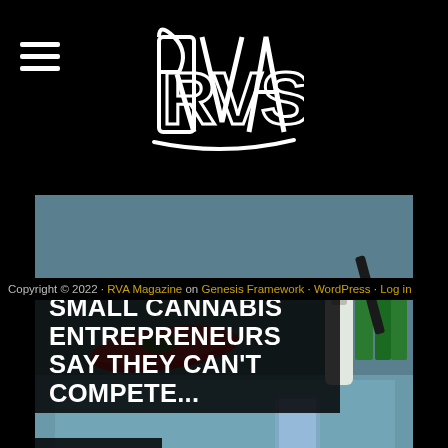RVA Magazine
[Figure (photo): Cannabis dispensary counter with red tray, grinder, products, and display cases. Overlaid with large white bold text: SMALL CANNABIS ENTREPRENEURS SAY THEY CAN'T COMPETE... and byline: By VCU CNS]
Copyright © 2022 · RVA Magazine on Genesis Framework · WordPress · Log in